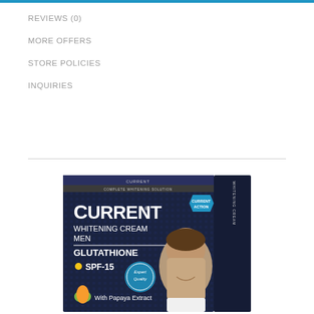REVIEWS (0)
MORE OFFERS
STORE POLICIES
INQUIRIES
[Figure (photo): Product box of Current Whitening Cream for Men with Glutathione, SPF-15, Expert Quality badge, With Papaya Extract, and Current Action shield logo. Dark navy blue box with a smiling man's face on the right side.]